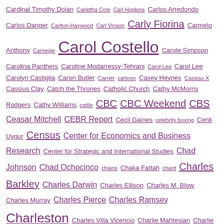Cardinal Timothy Dolan Carletha Cole Carl Hopkins Carlos Arredondo Carlos Danger Carlton Haywood Carl Vinson Carly Fiorina Carmelo Anthony Carnegie Carol Costello Carole Simpson Carolina Panthers Caroline Modarressy-Tehrani Carol Lea Carol Lee Carolyn Castiglia Caron Butler Carrier cartoon Casey Heynes Cassisu X Cassius Clay Catch the Thrones Catholic Church Cathy McMorris Rodgers Cathy Williams cattle CBC CBC Weekend CBS Ceasar Mitchell CEBR Report Cecil Gaines celebrity boxing Cenk Uygur Census Center for Economics and Business Research Center for Strategic and International Studies Chad Johnson Chad Ochocinco chains Chaka Fattah chant Charles Barkley Charles Darwin Charles Ellison Charles M. Blow Charles Murray Charles Pierce Charles Ramsey Charleston Charles Villa Vicencio Charlie Mahtesian Charlie Rangel Charlie Sykes Charlie Trie Charlotte Charlotte Bobcats Charlottesville charter schools cheater cheating Cheerios cheerleader Chelsea Clinton chemical weapons Cheryl Swopes Chi-Raq Chicago Chick-Fil-A Chicken McNuggets childhood obesity childish gambino child protective services children child support child trafficking China China Radio International king...